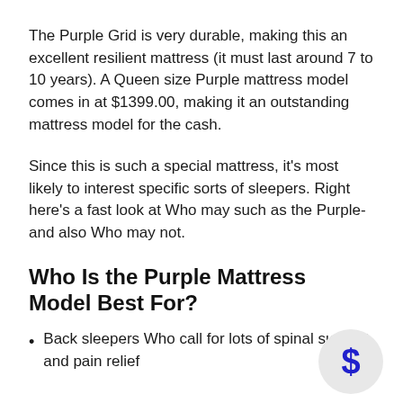The Purple Grid is very durable, making this an excellent resilient mattress (it must last around 7 to 10 years). A Queen size Purple mattress model comes in at $1399.00, making it an outstanding mattress model for the cash.
Since this is such a special mattress, it's most likely to interest specific sorts of sleepers. Right here's a fast look at Who may such as the Purple- and also Who may not.
Who Is the Purple Mattress Model Best For?
Back sleepers Who call for lots of spinal support and pain relief